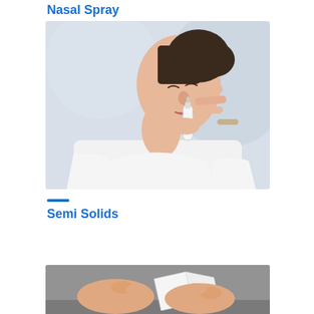Nasal Spray
[Figure (photo): Woman using a nasal spray, pressing one finger to her nose and holding the spray bottle with the other hand, wearing a white long-sleeve top, light background.]
Semi Solids
[Figure (photo): Close-up of hands holding or applying a semi-solid pharmaceutical product, grey background.]